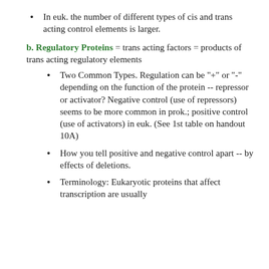In euk. the number of different types of cis and trans acting control elements is larger.
b. Regulatory Proteins = trans acting factors = products of trans acting regulatory elements
Two Common Types. Regulation can be "+" or "-" depending on the function of the protein -- repressor or activator? Negative control (use of repressors) seems to be more common in prok.; positive control (use of activators) in euk. (See 1st table on handout 10A)
How you tell positive and negative control apart -- by effects of deletions.
Terminology: Eukaryotic proteins that affect transcription are usually